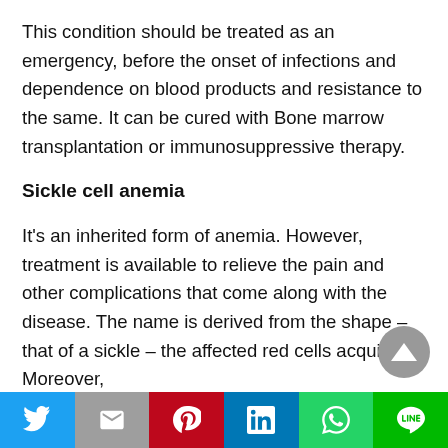This condition should be treated as an emergency, before the onset of infections and dependence on blood products and resistance to the same. It can be cured with Bone marrow transplantation or immunosuppressive therapy.
Sickle cell anemia
It's an inherited form of anemia. However, treatment is available to relieve the pain and other complications that come along with the disease. The name is derived from the shape – that of a sickle – the affected red cells acquire. Moreover,
Share bar: Twitter, Mail, Pinterest, LinkedIn, WhatsApp, Line